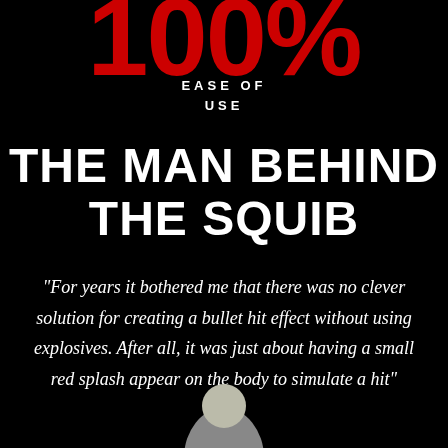100%
EASE OF
USE
THE MAN BEHIND THE SQUIB
"For years it bothered me that there was no clever solution for creating a bullet hit effect without using explosives. After all, it was just about having a small red splash appear on the body to simulate a hit"
[Figure (photo): Partial photo of a person's head visible at the bottom of the page]